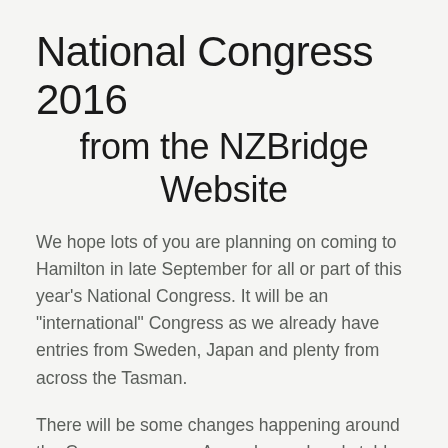National Congress 2016
from the NZBridge Website
We hope lots of you are planning on coming to Hamilton in late September for all or part of this year’s National Congress. It will be an “international” Congress as we already have entries from Sweden, Japan and plenty from across the Tasman.
There will be some changes happening around the Congress venue. As we have already told you, the venue is now a Distinction Hotel and that is having some positive outcomes already.
Free wifi throughout the hotel. This is already in